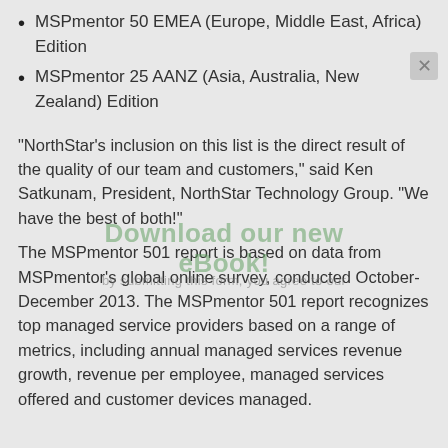MSPmentor 50 EMEA (Europe, Middle East, Africa) Edition
MSPmentor 25 AANZ (Asia, Australia, New Zealand) Edition
“NorthStar’s inclusion on this list is the direct result of the quality of our team and customers,” said Ken Satkunam, President, NorthStar Technology Group. “We have the best of both!”
The MSPmentor 501 report is based on data from MSPmentor’s global online survey, conducted October-December 2013. The MSPmentor 501 report recognizes top managed service providers based on a range of metrics, including annual managed services revenue growth, revenue per employee, managed services offered and customer devices managed.